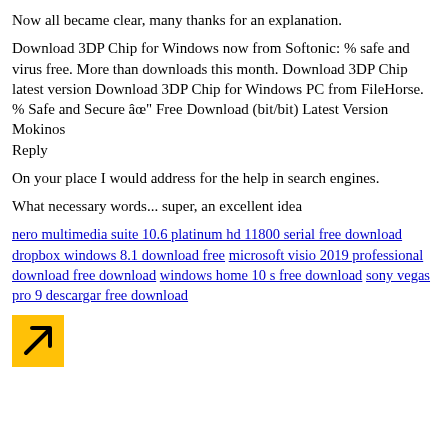Now all became clear, many thanks for an explanation.
Download 3DP Chip for Windows now from Softonic: % safe and virus free. More than downloads this month. Download 3DP Chip latest version Download 3DP Chip for Windows PC from FileHorse. % Safe and Secure âœ" Free Download (bit/bit) Latest Version
Mokinos
Reply
On your place I would address for the help in search engines.
What necessary words... super, an excellent idea
nero multimedia suite 10.6 platinum hd 11800 serial free download dropbox windows 8.1 download free microsoft visio 2019 professional download free download windows home 10 s free download sony vegas pro 9 descargar free download
[Figure (other): Orange/yellow square button with a diagonal upward-right arrow icon]